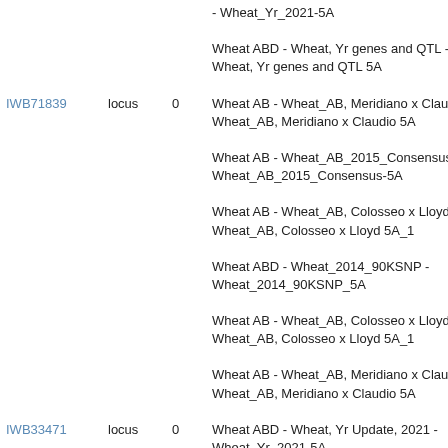| ID | Type | Num | Description |
| --- | --- | --- | --- |
|  |  |  | - Wheat_Yr_2021-5A |
|  |  |  | Wheat ABD - Wheat, Yr genes and QTL - Wheat, Yr genes and QTL 5A |
| IWB71839 | locus | 0 | Wheat AB - Wheat_AB, Meridiano x Claudio - Wheat_AB, Meridiano x Claudio 5A |
|  |  |  | Wheat AB - Wheat_AB_2015_Consensus - Wheat_AB_2015_Consensus-5A |
|  |  |  | Wheat AB - Wheat_AB, Colosseo x Lloyd - Wheat_AB, Colosseo x Lloyd 5A_1 |
|  |  |  | Wheat ABD - Wheat_2014_90KSNP - Wheat_2014_90KSNP_5A |
|  |  |  | Wheat AB - Wheat_AB, Colosseo x Lloyd - Wheat_AB, Colosseo x Lloyd 5A_1 |
|  |  |  | Wheat AB - Wheat_AB, Meridiano x Claudio - Wheat_AB, Meridiano x Claudio 5A |
| IWB33471 | locus | 0 | Wheat ABD - Wheat, Yr Update, 2021 - Wheat_Yr_2021-5A |